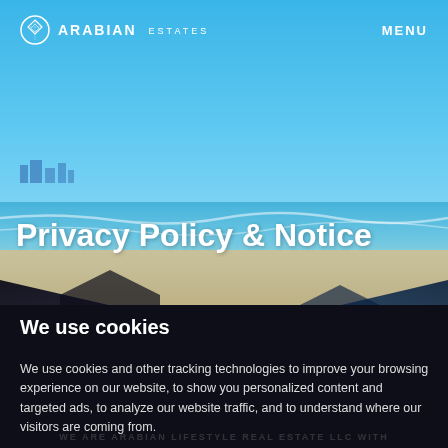[Figure (photo): Aerial/coastal view of a beach with blue sky, turquoise water, white sand, and city buildings in the background. Arabian Estates website header hero image for Privacy Policy & Notice page.]
ARABIAN ESTATES   MENU
Privacy Policy & Notice
We use cookies
We use cookies and other tracking technologies to improve your browsing experience on our website, to show you personalized content and targeted ads, to analyze our website traffic, and to understand where our visitors are coming from.